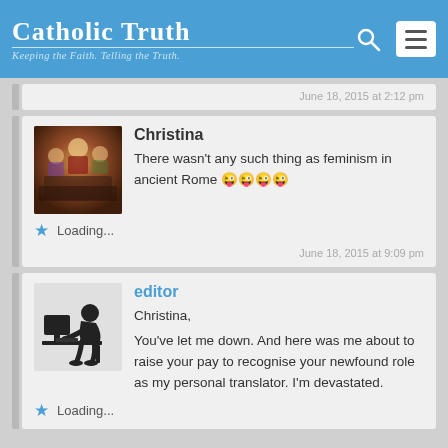Catholic Truth — Keeping the Faith. Telling the Truth.
June 18, 2015 at 2:12 pm
Christina
There wasn't any such thing as feminism in ancient Rome 😜😜😜😜
★ Loading...
June 18, 2015 at 9:09 pm
editor
Christina,
You've let me down. And here was me about to raise your pay to recognise your newfound role as my personal translator. I'm devastated.
★ Loading...